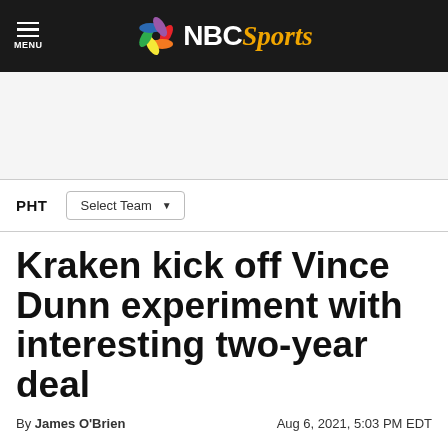MENU | NBC Sports
[Figure (other): Advertisement placeholder area]
PHT   Select Team
Kraken kick off Vince Dunn experiment with interesting two-year deal
By James O'Brien   Aug 6, 2021, 5:03 PM EDT